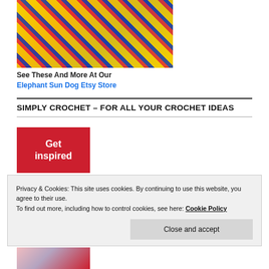[Figure (photo): Colorful crocheted granny square blanket/shawl with yellow, red, and blue yarn on a tiled floor background]
See These And More At Our
Elephant Sun Dog Etsy Store
SIMPLY CROCHET – FOR ALL YOUR CROCHET IDEAS
[Figure (photo): Red banner with white bold text reading 'Get inspired']
Privacy & Cookies: This site uses cookies. By continuing to use this website, you agree to their use.
To find out more, including how to control cookies, see here: Cookie Policy
[Figure (photo): Simply Crochet magazine cover thumbnail at bottom]